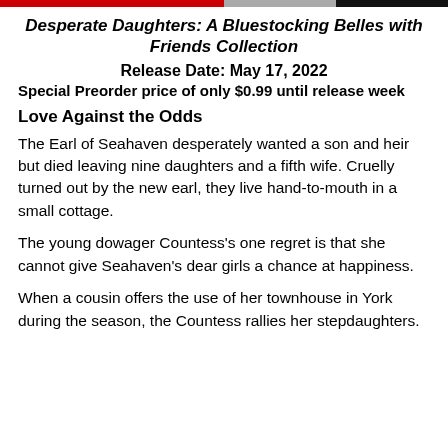[Figure (other): Decorative top banner with red, gray, and black horizontal color blocks]
Desperate Daughters: A Bluestocking Belles with Friends Collection
Release Date: May 17, 2022
Special Preorder price of only $0.99 until release week
Love Against the Odds
The Earl of Seahaven desperately wanted a son and heir but died leaving nine daughters and a fifth wife. Cruelly turned out by the new earl, they live hand-to-mouth in a small cottage.
The young dowager Countess's one regret is that she cannot give Seahaven's dear girls a chance at happiness.
When a cousin offers the use of her townhouse in York during the season, the Countess rallies her stepdaughters.